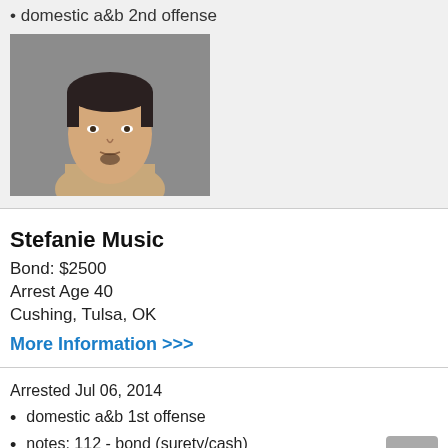domestic a&b 2nd offense
[Figure (photo): Mugshot photo of a male individual with dark hair]
Stefanie Music
Bond: $2500
Arrest Age 40
Cushing, Tulsa, OK
More Information >>>
Arrested Jul 06, 2014
domestic a&b 1st offense
notes: 112 - bond (surety/cash)
assault